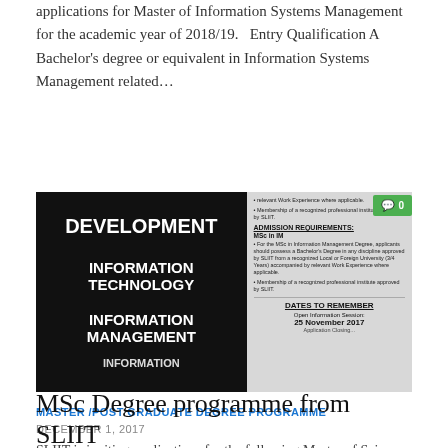applications for Master of Information Systems Management for the academic year of 2018/19.   Entry Qualification A Bachelor's degree or equivalent in Information Systems Management related…
[Figure (infographic): Promotional image for SLIIT postgraduate programmes showing three program names (Development, Information Technology, Information Management) on a black background on the left, and admission requirements and dates to remember on a grey background on the right. A green comment badge showing '0' is overlaid on the top right.]
MASTER /POST GRADUATE DEGREE PROGRAMME
DECEMBER 1, 2017
MSc Degree programme from SLIIT
SLIIT is inviting applications for the following Master of Sci…